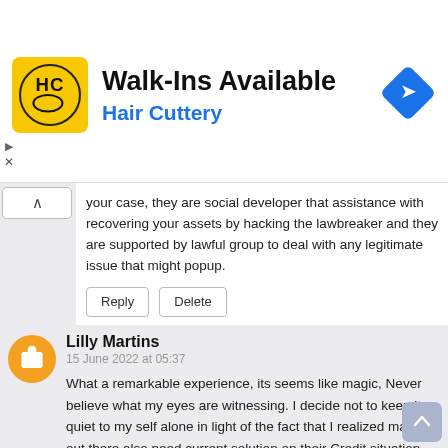[Figure (logo): Hair Cuttery advertisement banner with HC logo, 'Walk-Ins Available' heading, 'Hair Cuttery' in blue, and a blue diamond road sign icon]
your case, they are social developer that assistance with recovering your assets by hacking the lawbreaker and they are supported by lawful group to deal with any legitimate issue that might popup.
Reply   Delete
Lilly Martins
15 June 2022 at 05:37
What a remarkable experience, its seems like magic, Never believe what my eyes are witnessing. I decide not to keep it quiet to my self alone in light of the fact that I realized many out there also need current solution on their Credit situation and financial score. they are professional and exceptionally vigilant in completing their jobs, they have the best customer support specialists and satisfaction on a basic level, They help clear criminal records as well repair terrible FICO rating, all web-based